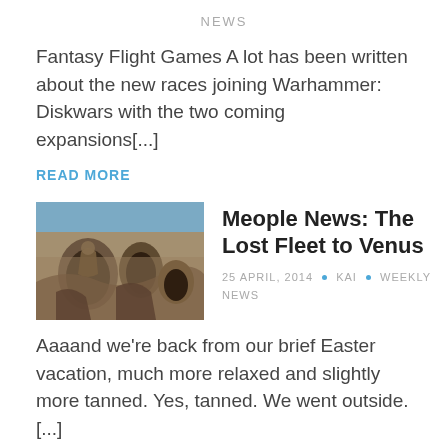NEWS
Fantasy Flight Games A lot has been written about the new races joining Warhammer: Diskwars with the two coming expansions[...]
READ MORE
[Figure (photo): Photo of ancient stone cave carvings or ruins with rock-carved archways and figures.]
Meople News: The Lost Fleet to Venus
25 APRIL, 2014 . KAI . WEEKLY NEWS
Aaaand we're back from our brief Easter vacation, much more relaxed and slightly more tanned. Yes, tanned. We went outside.[...]
READ MORE